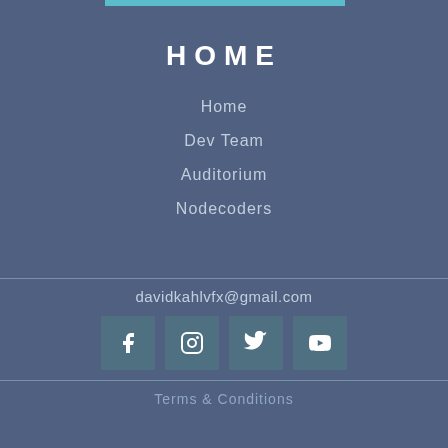HOME
Home
Dev Team
Auditorium
Nodecoders
davidkahlvfx@gmail.com
[Figure (infographic): Social media icons: Facebook, Instagram, Twitter, YouTube]
Terms & Conditions